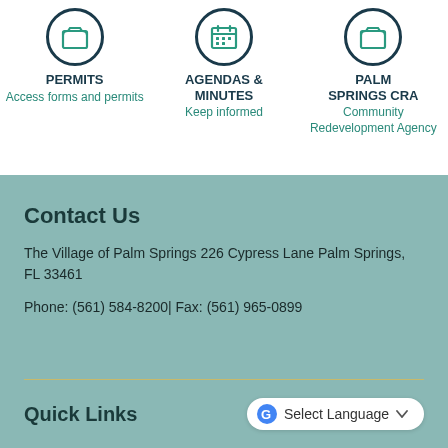[Figure (infographic): Three icon blocks with circles: Permits (folder icon), Agendas & Minutes (calendar icon), Palm Springs CRA (folder icon)]
Contact Us
The Village of Palm Springs 226 Cypress Lane Palm Springs, FL 33461
Phone: (561) 584-8200| Fax: (561) 965-0899
Quick Links